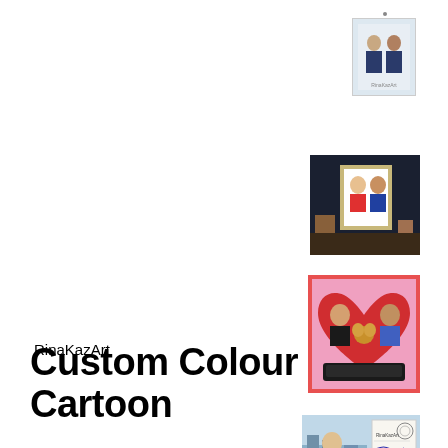[Figure (photo): Small thumbnail of a couple portrait (man and woman) with light blue/white background, pinned at top right]
[Figure (photo): Dark-toned photo of a framed cartoon portrait displayed on a shelf or table]
[Figure (photo): Colourful cartoon illustration of a woman, man and dog inside a large red heart on a pink background]
[Figure (photo): Photo of a woman with cityscape background, alongside what appears to be a postcard or certificate with text and stamp marks]
RinaKazArt
Custom Colour Cartoon